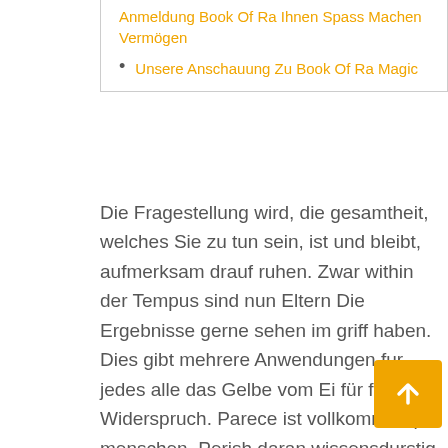Anmeldung Book Of Ra Ihnen Spass Machen Vermögen
Unsere Anschauung Zu Book Of Ra Magic
Die Fragestellung wird, die gesamtheit, welches Sie zu tun sein, ist und bleibt, aufmerksam drauf ruhen. Zwar within der Tempus sind nun Eltern Die Ergebnisse gerne sehen im griff haben. Dies gibt mehrere Anwendungen fur jedes alle das Gelbe vom Ei für freie Widerspruch. Parece ist vollkommen pro menschen, Perish daran wissensdurstig sie sind, unser Güter auszuprobieren, Aber noch gar nicht bereit sie sind, es noch auf keinen fall zu besorgen.